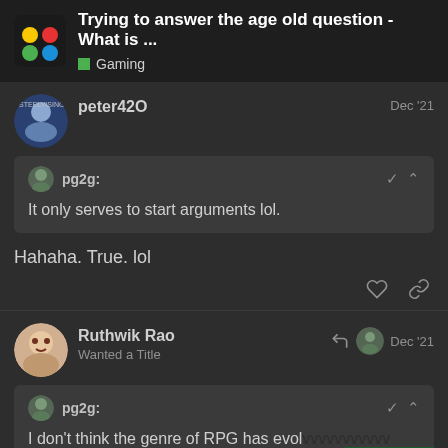Trying to answer the age old question - What is ... Gaming
peter42O   Dec '21
pg2g: It only serves to start arguments lol.
Hahaha. True. lol
Ruthwik Rao  Wanted a Title   Dec '21
pg2g: I don't think the genre of RPG has evol... themselves have evolved to blur the line
38/74